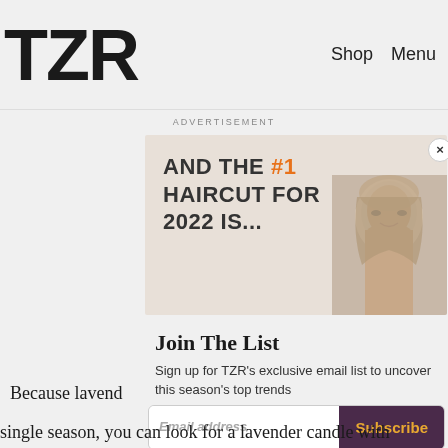TZR   Shop   Menu
ADVERTISEMENT
[Figure (photo): Advertisement banner with text 'AND THE #1 HAIRCUT FOR 2022 IS...' in dark and orange text, with a woman's face on the right side. A close button (×) is in the top right corner.]
Join The List
Sign up for TZR's exclusive email list to uncover this season's top trends
Email address   Subscribe
Because lavend
single season, you can look for a lavender candle with